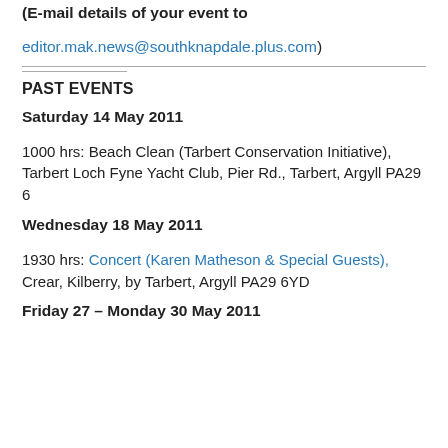(E-mail details of your event to editor.mak.news@southknapdale.plus.com)
PAST EVENTS
Saturday 14 May 2011
1000 hrs: Beach Clean (Tarbert Conservation Initiative), Tarbert Loch Fyne Yacht Club, Pier Rd., Tarbert, Argyll PA29 6
Wednesday 18 May 2011
1930 hrs: Concert (Karen Matheson & Special Guests), Crear, Kilberry, by Tarbert, Argyll PA29 6YD
Friday 27 – Monday 30 May 2011